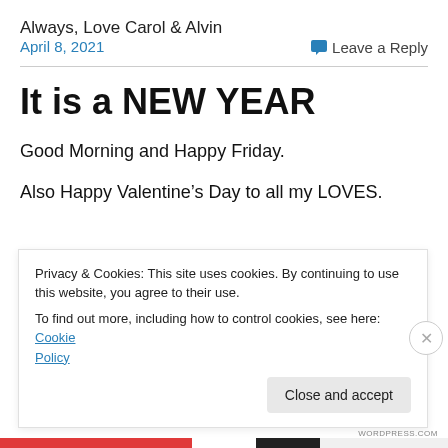Always, Love Carol & Alvin
April 8, 2021
Leave a Reply
It is a NEW YEAR
Good Morning and Happy Friday.
Also Happy Valentine's Day to all my LOVES.
Privacy & Cookies: This site uses cookies. By continuing to use this website, you agree to their use. To find out more, including how to control cookies, see here: Cookie Policy
Close and accept